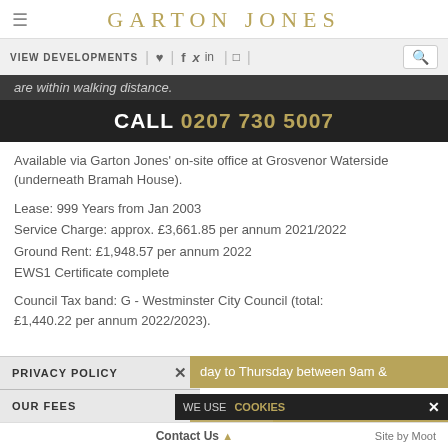GARTON JONES
VIEW DEVELOPMENTS | ♥ | f | Twitter | in | Instagram |
are within walking distance.
CALL 0207 730 5007
Available via Garton Jones' on-site office at Grosvenor Waterside (underneath Bramah House).
Lease: 999 Years from Jan 2003
Service Charge: approx. £3,661.85 per annum 2021/2022
Ground Rent: £1,948.57 per annum 2022
EWS1 Certificate complete
Council Tax band: G - Westminster City Council (total: £1,440.22 per annum 2022/2023).
PRIVACY POLICY ×
day to Thursday between 9am & between 9am and 5:30pm
OUR FEES ×
WE USE COOKIES ×
Saturdays by appointment
Contact Us ▲   Site by Moot